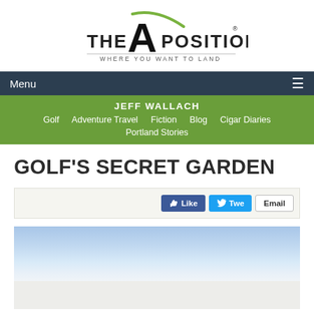[Figure (logo): The A Position logo — a stylized letter A with a golf arc, tagline: WHERE YOU WANT TO LAND]
Menu ☰
JEFF WALLACH
Golf  Adventure Travel  Fiction  Blog  Cigar Diaries  Portland Stories
GOLF'S SECRET GARDEN
[Figure (infographic): Social share buttons: Like (Facebook), Tweet (Twitter), Email]
[Figure (photo): Landscape photo showing a blue sky fading to a light horizon, likely a golf course or coastal scene]